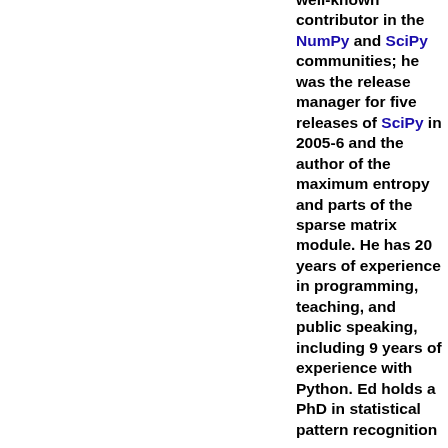well-known contributor in the NumPy and SciPy communities; he was the release manager for five releases of SciPy in 2005-6 and the author of the maximum entropy and parts of the sparse matrix module. He has 20 years of experience in programming, teaching, and public speaking, including 9 years of experience with Python. Ed holds a PhD in statistical pattern recognition